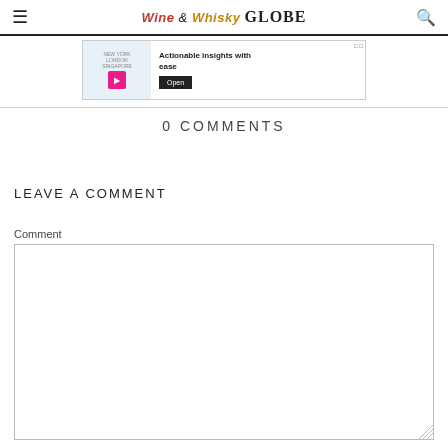Wine & Whisky GLOBE
[Figure (screenshot): Advertisement banner: person in suit with text 'Actionable insights with ease' and an Open button]
0 COMMENTS
LEAVE A COMMENT
Comment
[Figure (screenshot): Empty comment textarea input box]